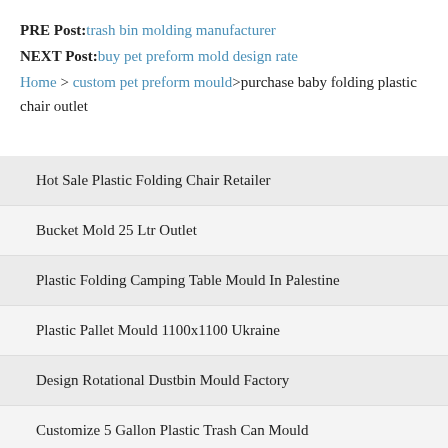PRE Post: trash bin molding manufacturer
NEXT Post: buy pet preform mold design rate
Home > custom pet preform mould>purchase baby folding plastic chair outlet
Hot Sale Plastic Folding Chair Retailer
Bucket Mold 25 Ltr Outlet
Plastic Folding Camping Table Mould In Palestine
Plastic Pallet Mould 1100x1100 Ukraine
Design Rotational Dustbin Mould Factory
Customize 5 Gallon Plastic Trash Can Mould